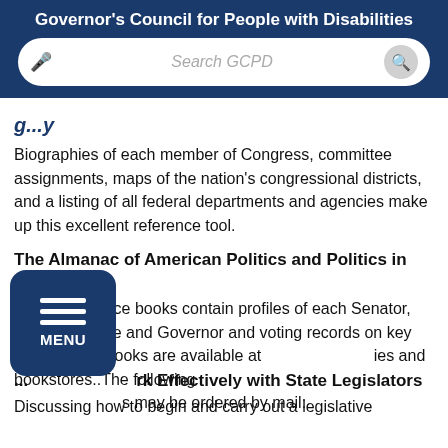Governor's Council for People with Disabilities
[Figure (screenshot): Search bar with microphone icon and search button on dark blue navigation bar]
g...y (partial heading, italic blue text, cut off at top)
Biographies of each member of Congress, committee assignments, maps of the nation's congressional districts, and a listing of all federal departments and agencies make up this excellent reference tool.
The Almanac of American Politics and Politics in America
These reference books contain profiles of each Senator, Representative and Governor and voting records on key issues. Both books are available at libraries and bookstores..The following titles may be ordered by mail:
[Figure (other): Dark blue rounded square MENU button with three horizontal lines and the word MENU]
...rk Effectively with State Legislators
Discussing how to begin and carry out a legislative (cut off)